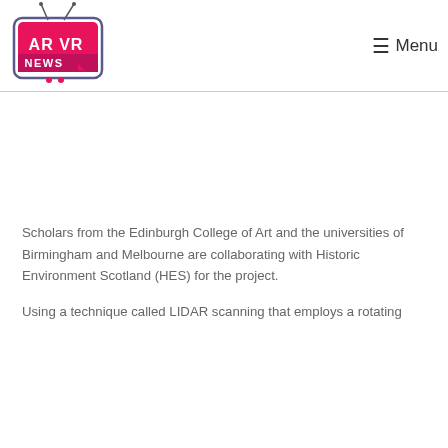AR VR NEWS | Menu
[Figure (logo): AR VR News TV logo — stylized retro TV set with antenna, pink/magenta background with white text 'AR VR NEWS']
Scholars from the Edinburgh College of Art and the universities of Birmingham and Melbourne are collaborating with Historic Environment Scotland (HES) for the project.
Using a technique called LIDAR scanning that employs a rotating